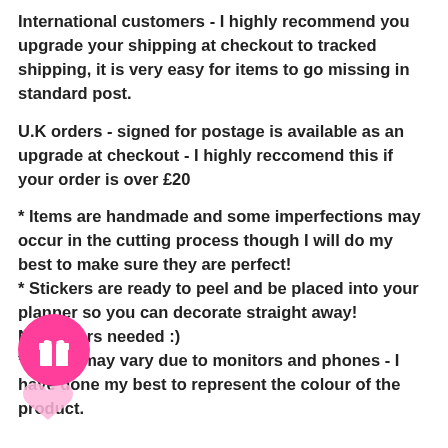International customers - I highly recommend you upgrade your shipping at checkout to tracked shipping, it is very easy for items to go missing in standard post.
U.K orders - signed for postage is available as an upgrade at checkout - I highly reccomend this if your order is over £20
* Items are handmade and some imperfections may occur in the cutting process though I will do my best to make sure they are perfect!
* Stickers are ready to peel and be placed into your planner so you can decorate straight away! No scissors needed :)
* Colours may vary due to monitors and phones - I have done my best to represent the colour of the product.
[Figure (illustration): Pink circle gift icon with white gift box symbol, and a pink heart shape partially visible below it in the bottom-left area of the page]